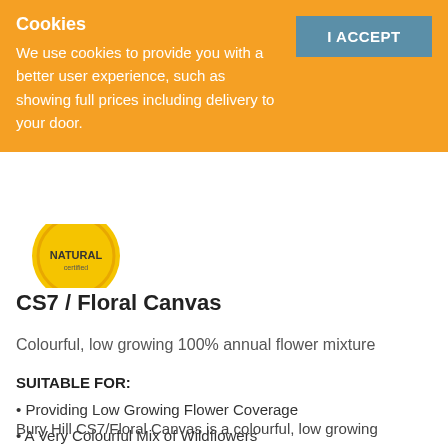Cookies
We use cookies to provide you with a better user experience, such as showing full prices including delivery to your door.
[Figure (logo): Bumblebee Conservation Trust logo watermark with bumblebee illustration]
CS7 / Floral Canvas
Colourful, low growing 100% annual flower mixture
SUITABLE FOR:
Providing Low Growing Flower Coverage
A Very Colourful Mix of Wildflowers
No Grasses
Bury Hill CS7/Floral Canvas is a colourful, low growing